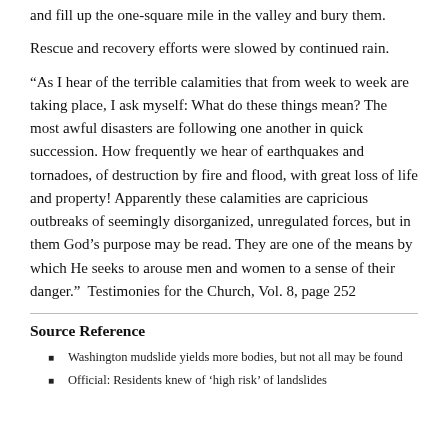and fill up the one-square mile in the valley and bury them.
Rescue and recovery efforts were slowed by continued rain.
“As I hear of the terrible calamities that from week to week are taking place, I ask myself: What do these things mean? The most awful disasters are following one another in quick succession. How frequently we hear of earthquakes and tornadoes, of destruction by fire and flood, with great loss of life and property! Apparently these calamities are capricious outbreaks of seemingly disorganized, unregulated forces, but in them God’s purpose may be read. They are one of the means by which He seeks to arouse men and women to a sense of their danger.”  Testimonies for the Church, Vol. 8, page 252
Source Reference
Washington mudslide yields more bodies, but not all may be found
Official: Residents knew of ‘high risk’ of landslides